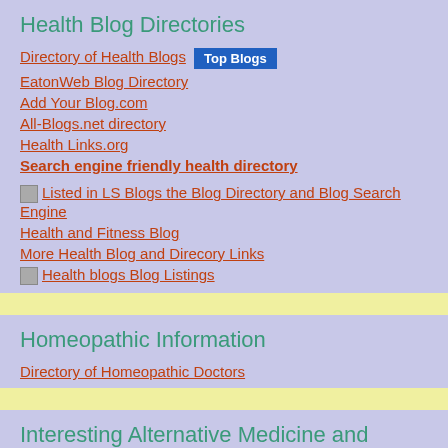Health Blog Directories
Directory of Health Blogs [Top Blogs badge]
EatonWeb Blog Directory
Add Your Blog.com
All-Blogs.net directory
Health Links.org
Search engine friendly health directory
[image] Listed in LS Blogs the Blog Directory and Blog Search Engine
Health and Fitness Blog
More Health Blog and Direcory Links
[image] Health blogs Blog Listings
Homeopathic Information
Directory of Homeopathic Doctors
Interesting Alternative Medicine and Wellness Blogs
Homeopathic Doctor Website